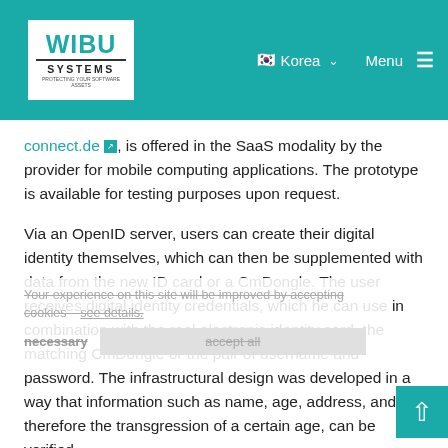WIBU SYSTEMS | Korea | Menu
connect.de ⧉, is offered in the SaaS modality by the provider for mobile computing applications. The prototype is available for testing purposes upon request.
Via an OpenID server, users can create their digital identity themselves, which can then be supplemented with data from the new ID card or a CmDongle. The user receives digital identity credentials, which he can use in combination with the real electronic identity card, the matching CmDongle or the pair of username and password. The infrastructural design was developed in a way that information such as name, age, address, and therefore the transgression of a certain age, can be verified.
Oliver Winzenried, CEO and founder of Wibu-Systems AG, explains: “With “oID Connect” we aimed at creating a